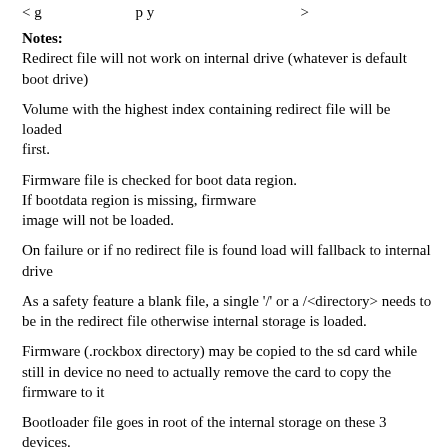< g ... p y >
Notes:
Redirect file will not work on internal drive (whatever is default boot drive)
Volume with the highest index containing redirect file will be loaded
first.
Firmware file is checked for boot data region.
If bootdata region is missing, firmware
image will not be loaded.
On failure or if no redirect file is found load will fallback to internal drive
As a safety feature a blank file, a single '/' or a /<directory> needs to be in the redirect file otherwise internal storage is loaded.
Firmware (.rockbox directory) may be copied to the sd card while still in device no need to actually remove the card to copy the firmware to it
Bootloader file goes in root of the internal storage on these 3 devices.